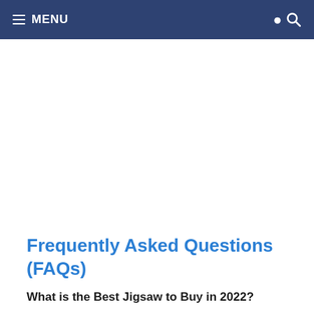≡ MENU
[Figure (other): Empty white advertisement/content area placeholder]
Frequently Asked Questions (FAQs)
What is the Best Jigsaw to Buy in 2022?